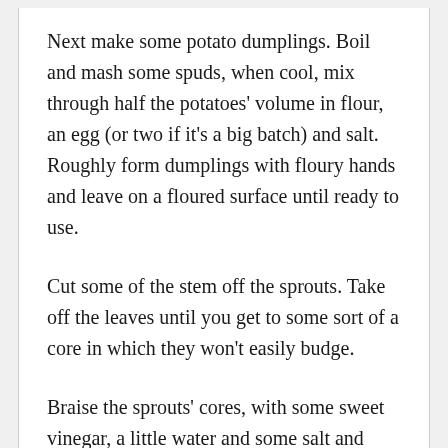Next make some potato dumplings. Boil and mash some spuds, when cool, mix through half the potatoes' volume in flour, an egg (or two if it's a big batch) and salt. Roughly form dumplings with floury hands and leave on a floured surface until ready to use.
Cut some of the stem off the sprouts. Take off the leaves until you get to some sort of a core in which they won't easily budge.
Braise the sprouts' cores, with some sweet vinegar, a little water and some salt and butter, until tender.
Perk up the walnuts with a short bake in a